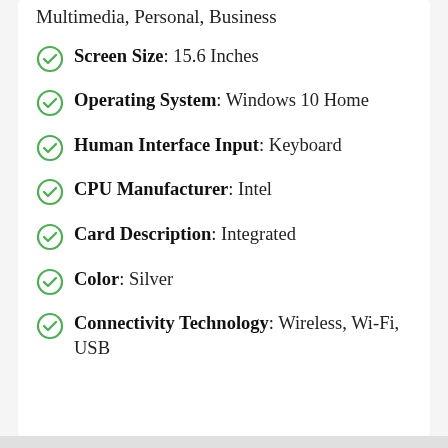Multimedia, Personal, Business
Screen Size: 15.6 Inches
Operating System: Windows 10 Home
Human Interface Input: Keyboard
CPU Manufacturer: Intel
Card Description: Integrated
Color: Silver
Connectivity Technology: Wireless, Wi-Fi, USB